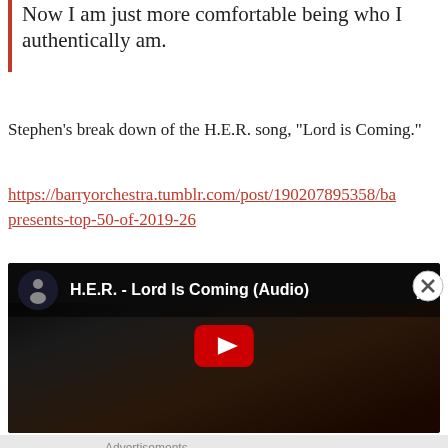Now I am just more comfortable being who I authentically am.
Stephen’s break down of the H.E.R. song, “Lord is Coming.”
https://barryorchestra.tumblr.com/post/190207895358/ba presents-top-50-of-2019-26
[Figure (screenshot): YouTube video embed showing H.E.R. - Lord Is Coming (Audio) with a play button overlay on a dark background showing hands holding a reflective surface.]
Advertisements